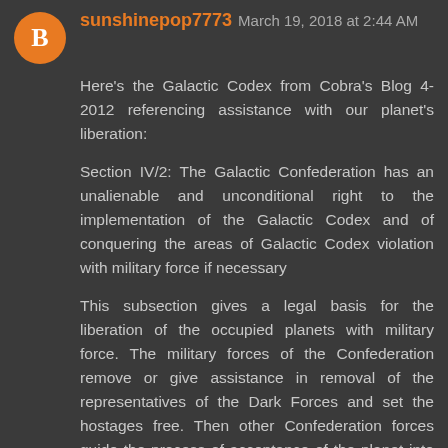sunshinepop7773 March 19, 2018 at 2:44 AM
Here's the Galactic Codex from Cobra's Blog 4-2012 referencing assistance with our planet's liberation:
Section IV/2: The Galactic Confederation has an unalienable and unconditional right to the implementation of the Galactic Codex and of conquering the areas of Galactic Codex violation with military force if necessary
This subsection gives a legal basis for the liberation of the occupied planets with military force. The military forces of the Confederation remove or give assistance in removal of the representatives of the Dark Forces and set the hostages free. Then other Confederation forces guide the process of acceptance of the planet into the Confederation by instructing the local population.
Perhaps some humans feel that the Confederation has no right to intervene and that humanity has the right to solve its problems by itself. This is simply not true. Many wars all over the planet and constant abuse of basic human rights